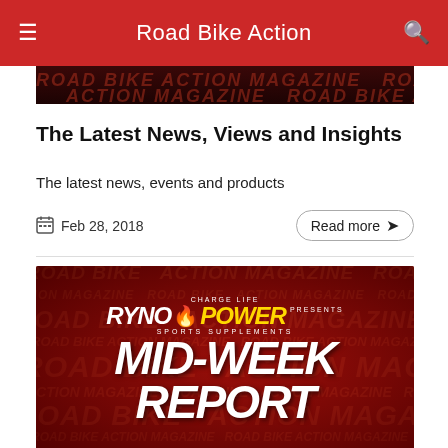Road Bike Action
[Figure (screenshot): Partially visible Road Bike Action magazine banner image, dark red background]
The Latest News, Views and Insights
The latest news, events and products
Feb 28, 2018
[Figure (screenshot): Ryno Power Sports Supplements Mid-Week Report banner image with red background and repeating Road Bike Action Magazine text]
The Latest News, Views and Insights
The latest news, products and events